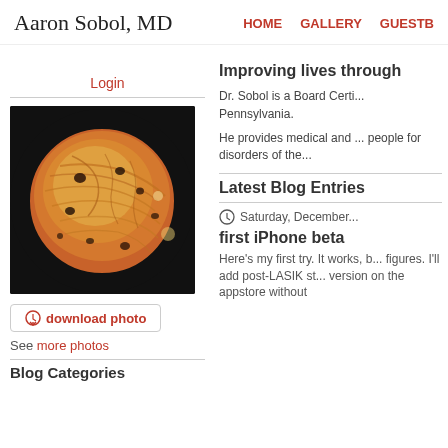Aaron Sobol, MD
HOME   GALLERY   GUESTB...
Login
[Figure (photo): Close-up retinal fundus photograph showing a circular view of the retina with orange/yellow tones, blood vessel patterns, and dark spots indicating retinal pathology.]
download photo
See more photos
Blog Categories
Improving lives through...
Dr. Sobol is a Board Certi... Pennsylvania.
He provides medical and ... people for disorders of the...
Latest Blog Entries
Saturday, December...
first iPhone beta
Here's my first try.  It works, b... figures.  I'll add post-LASIK st... version on the appstore without